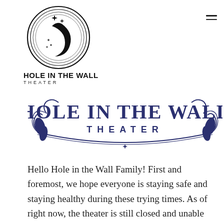[Figure (logo): Circular black logo with crescent moon and stars inside two concentric circles, for Hole in the Wall Theater]
HOLE IN THE WALL
THEATER
[Figure (logo): Decorative navy blue banner logo reading HOLE IN THE WALL THEATER with ornate serif lettering and flourishes]
Hello Hole in the Wall Family! First and foremost, we hope everyone is staying safe and staying healthy during these trying times. As of right now, the theater is still closed and unable to perform in our normal capacity. That